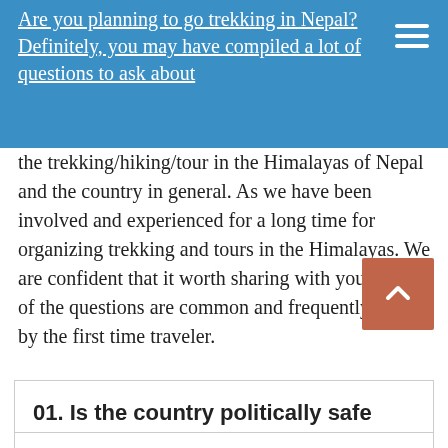Are you planning to go trekking in Nepal? Definitely, you may have compiled a lot of questions to ask about
the trekking/hiking/tour in the Himalayas of Nepal and the country in general. As we have been involved and experienced for a long time for organizing trekking and tours in the Himalayas. We are confident that it worth sharing with you.  Most of the questions are common and frequently asked by the first time traveler.
01. Is the country politically safe and stable?